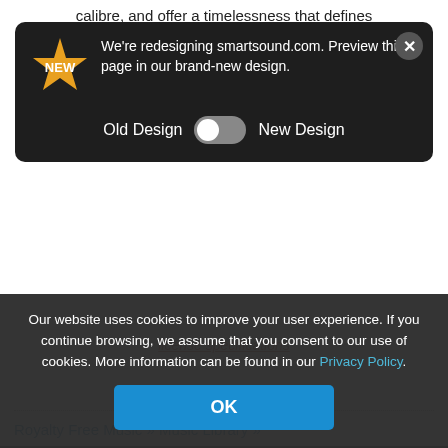calibre, and offer a timelessness that defines
[Figure (screenshot): Popup notification: 'We're redesigning smartsound.com. Preview this page in our brand-new design.' with Old Design / New Design toggle switch and close button]
license specifications
Royalty Free Music » Music Library »
Mozart & Rossini » Mozart Menuetto 2
Royalty Free Music
Our website uses cookies to improve your user experience. If you continue browsing, we assume that you consent to our use of cookies. More information can be found in our Privacy Policy.
OK